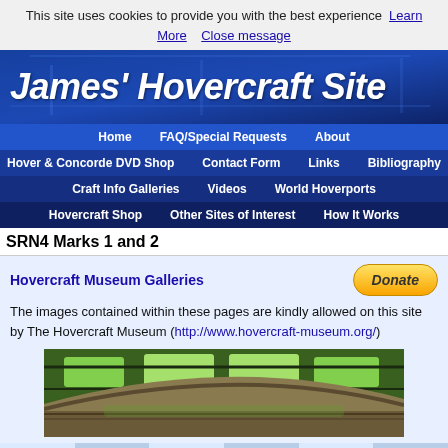This site uses cookies to provide you with the best experience  Learn More  Close message
James' Hovercraft Site
Home  FAQ/Special Requests  About  Hover & Concorde DVD Shop  Contact Form  Links  Bibliography  Craft Info Galleries  Videos  World Hoverports  Hovercraft Shop  Other Sites of Interest  How It Works
SRN4 Marks 1 and 2
Hovercraft Museum Galleries
The images contained within these pages are kindly allowed on this site by The Hovercraft Museum (http://www.hovercraft-museum.org/)
[Figure (photo): Interior museum photo showing green-lit hovercraft hull or skirt structure from below, hanging from ceiling]